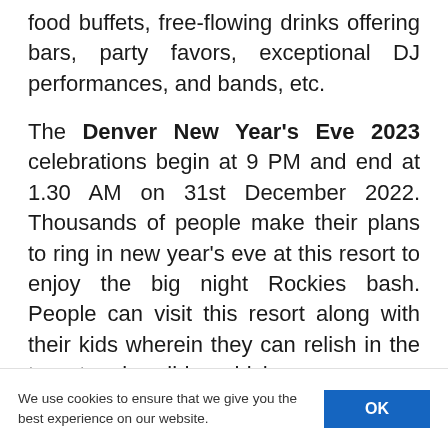food buffets, free-flowing drinks offering bars, party favors, exceptional DJ performances, and bands, etc.
The Denver New Year's Eve 2023 celebrations begin at 9 PM and end at 1.30 AM on 31st December 2022. Thousands of people make their plans to ring in new year's eve at this resort to enjoy the big night Rockies bash. People can visit this resort along with their kids wherein they can relish in the two-story ice slides which
We use cookies to ensure that we give you the best experience on our website.